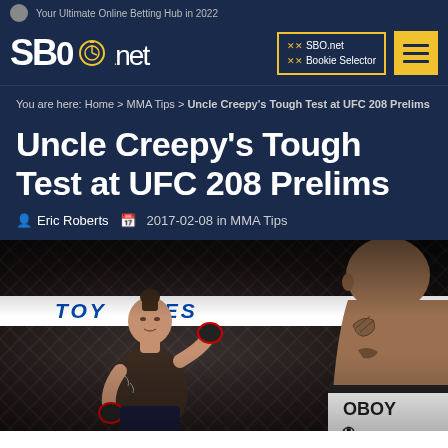Your Ultimate Online Betting Hub in 2022
[Figure (logo): SBO.net logo with stopwatch icon]
SBO.net Bookie Selector
You are here: Home > MMA Tips > Uncle Creepy's Tough Test at UFC 208 Prelims
Uncle Creepy's Tough Test at UFC 208 Prelims
Eric Roberts  2017-02-08 in MMA Tips
[Figure (photo): Two UFC fighters in the octagon, one facing the other, with a 'TOYO TIRES' banner visible on the cage. The fighter on the left has tattoos, a top knot hairstyle, and is wearing UFC gloves. The fighter on the right shows their back and tattooed shoulder.]